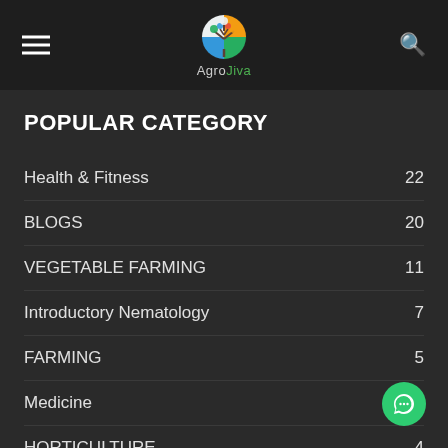AgroJiva
POPULAR CATEGORY
Health & Fitness  22
BLOGS  20
VEGETABLE FARMING  11
Introductory Nematology  7
FARMING  5
Medicine  5
HORTICULTURE  4
Dairy Science and Technology  4
FRUIT FARMING  3